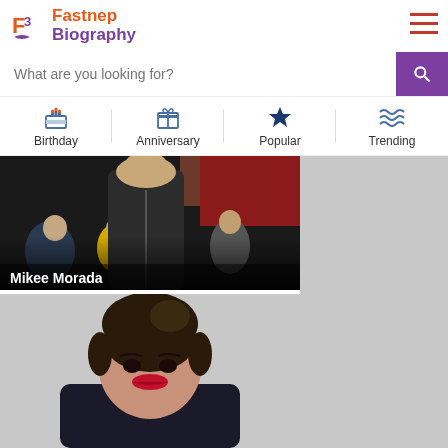Fastnep Biography
What are you looking for?
Birthday | Anniversary | Popular | Trending
[Figure (photo): Man in dark jacket smiling at event with crowd behind him, labeled Mikee Morada]
[Figure (photo): Young woman with dark updo hair and red lips in dark blazer, partial view]